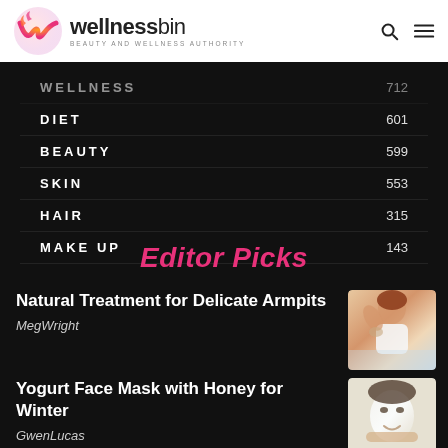wellnessbin — BEAUTY AND WELLNESS AUTHORITY
WELLNESS  712
DIET  601
BEAUTY  599
SKIN  553
HAIR  315
MAKE UP  143
Editor Picks
Natural Treatment for Delicate Armpits
MegWright
[Figure (photo): Woman raising arm showing armpit, white top, red hair]
Yogurt Face Mask with Honey for Winter
GwenLucas
[Figure (photo): Woman with white yogurt face mask, smiling]